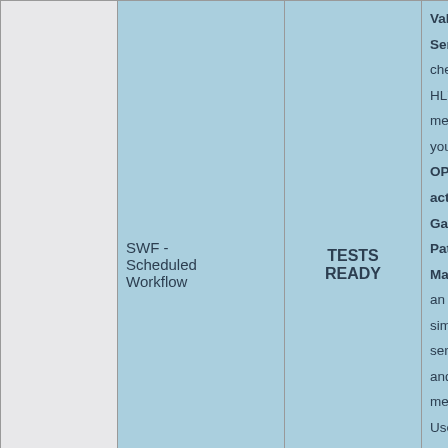|  | Profile | Status | Description |
| --- | --- | --- | --- |
|  | SWF - Scheduled Workflow | TESTS READY | Validation Service: check the HL7 messages you send.
OP, OF actors, Gazelle Patient Manager: an ADT simulator, send RIS and RAD messages. Use Gazelle Order Manager simulator... |